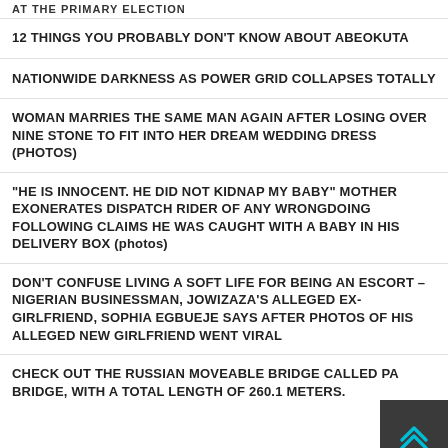AT THE PRIMARY ELECTION
12 THINGS YOU PROBABLY DON'T KNOW ABOUT ABEOKUTA
NATIONWIDE DARKNESS AS POWER GRID COLLAPSES TOTALLY
WOMAN MARRIES THE SAME MAN AGAIN AFTER LOSING OVER NINE STONE TO FIT INTO HER DREAM WEDDING DRESS (PHOTOS)
“HE IS INNOCENT. HE DID NOT KIDNAP MY BABY” MOTHER EXONERATES DISPATCH RIDER OF ANY WRONGDOING FOLLOWING CLAIMS HE WAS CAUGHT WITH A BABY IN HIS DELIVERY BOX (photos)
DON’T CONFUSE LIVING A SOFT LIFE FOR BEING AN ESCORT – NIGERIAN BUSINESSMAN, JOWIZAZA’S ALLEGED EX-GIRLFRIEND, SOPHIA EGBUEJE SAYS AFTER PHOTOS OF HIS ALLEGED NEW GIRLFRIEND WENT VIRAL
CHECK OUT THE RUSSIAN MOVEABLE BRIDGE CALLED PA BRIDGE, WITH A TOTAL LENGTH OF 260.1 METERS.